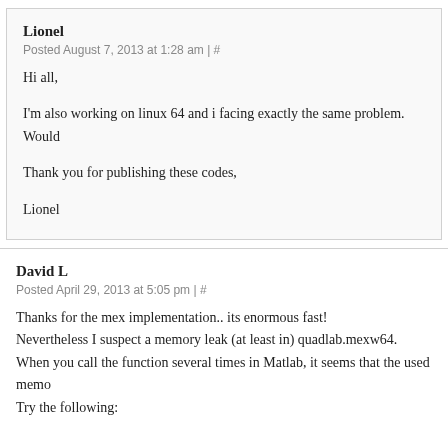Lionel
Posted August 7, 2013 at 1:28 am | #
Hi all,
I'm also working on linux 64 and i facing exactly the same problem. Would
Thank you for publishing these codes,
Lionel
David L
Posted April 29, 2013 at 5:05 pm | #
Thanks for the mex implementation.. its enormous fast!
Nevertheless I suspect a memory leak (at least in) quadlab.mexw64.
When you call the function several times in Matlab, it seems that the used memo
Try the following: